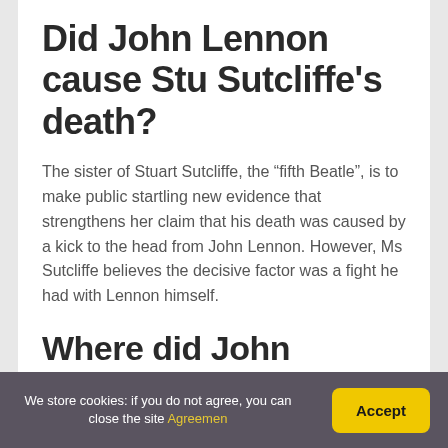Did John Lennon cause Stu Sutcliffe’s death?
The sister of Stuart Sutcliffe, the “fifth Beatle”, is to make public startling new evidence that strengthens her claim that his death was caused by a kick to the head from John Lennon. However, Ms Sutcliffe believes the decisive factor was a fight he had with Lennon himself.
Where did John Lennon sail to?
We store cookies: if you do not agree, you can close the site Agreemen